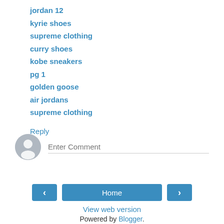jordan 12
kyrie shoes
supreme clothing
curry shoes
kobe sneakers
pg 1
golden goose
air jordans
supreme clothing
Reply
[Figure (illustration): User avatar placeholder icon (grey circle with silhouette) next to an Enter Comment text input field]
< Home > View web version Powered by Blogger.